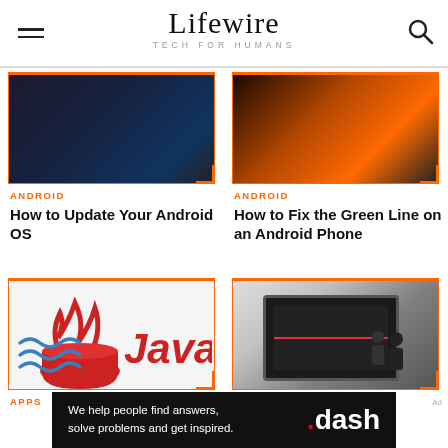Lifewire — TECH FOR HUMANS
[Figure (photo): Dark Android phone close-up]
ANDROID
How to Update Your Android OS
[Figure (photo): Glowing Android phone screen]
ANDROID
How to Fix the Green Line on an Android Phone
[Figure (logo): Java programming language logo]
APPS
[Figure (photo): Tablet showing video player]
FACEBOOK
[Figure (other): Ad banner: We help people find answers, solve problems and get inspired. .dash]